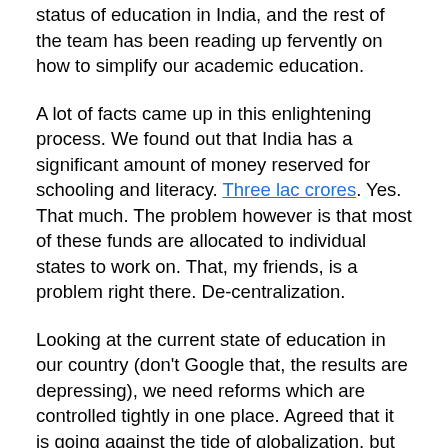status of education in India, and the rest of the team has been reading up fervently on how to simplify our academic education.
A lot of facts came up in this enlightening process. We found out that India has a significant amount of money reserved for schooling and literacy. Three lac crores. Yes. That much. The problem however is that most of these funds are allocated to individual states to work on. That, my friends, is a problem right there. De-centralization.
Looking at the current state of education in our country (don’t Google that, the results are depressing), we need reforms which are controlled tightly in one place. Agreed that it is going against the tide of globalization, but to instil some hope in the education sector, this is the only way out. And we’re not going to be the first to do this. Almost all the countries “on top of the education charts” have done this, and are